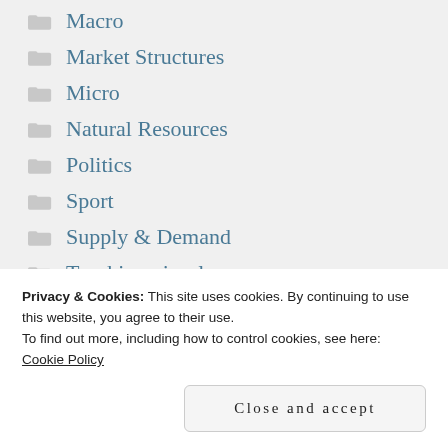Macro
Market Structures
Micro
Natural Resources
Politics
Sport
Supply & Demand
Teaching visuals
Trade
Privacy & Cookies: This site uses cookies. By continuing to use this website, you agree to their use.
To find out more, including how to control cookies, see here: Cookie Policy
Close and accept